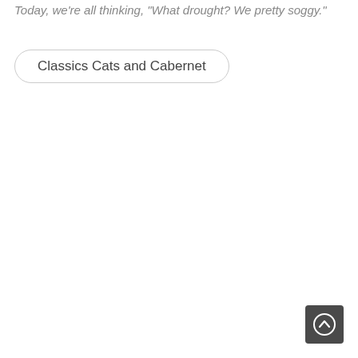Today, we're all thinking, "What drought? We pretty soggy."
Classics Cats and Cabernet
[Figure (other): Scroll-to-top button: dark gray rounded square with a white circle containing an upward chevron arrow icon.]